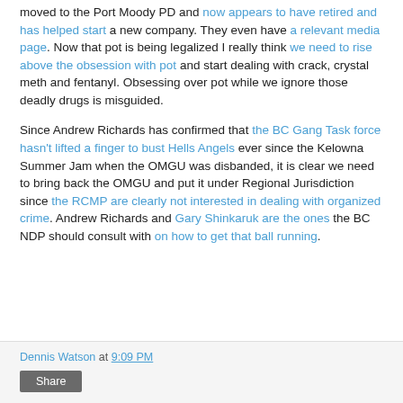moved to the Port Moody PD and now appears to have retired and has helped start a new company. They even have a relevant media page. Now that pot is being legalized I really think we need to rise above the obsession with pot and start dealing with crack, crystal meth and fentanyl. Obsessing over pot while we ignore those deadly drugs is misguided.
Since Andrew Richards has confirmed that the BC Gang Task force hasn't lifted a finger to bust Hells Angels ever since the Kelowna Summer Jam when the OMGU was disbanded, it is clear we need to bring back the OMGU and put it under Regional Jurisdiction since the RCMP are clearly not interested in dealing with organized crime. Andrew Richards and Gary Shinkaruk are the ones the BC NDP should consult with on how to get that ball running.
Dennis Watson at 9:09 PM
Share